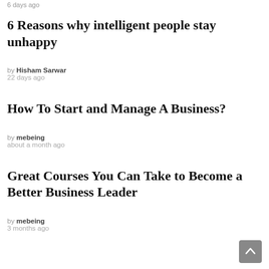6 days ago
6 Reasons why intelligent people stay unhappy
by Hisham Sarwar
22 days ago
How To Start and Manage A Business?
by mebeing
about a month ago
Great Courses You Can Take to Become a Better Business Leader
by mebeing
3 months ago